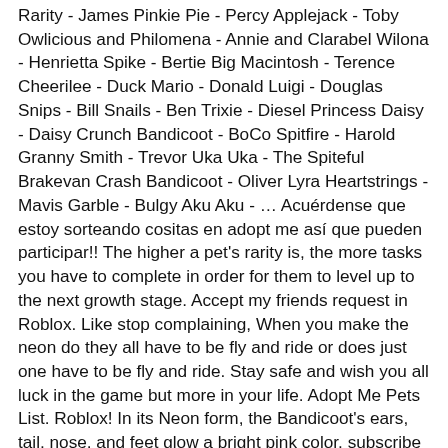Rarity - James Pinkie Pie - Percy Applejack - Toby Owlicious and Philomena - Annie and Clarabel Wilona - Henrietta Spike - Bertie Big Macintosh - Terence Cheerilee - Duck Mario - Donald Luigi - Douglas Snips - Bill Snails - Ben Trixie - Diesel Princess Daisy - Daisy Crunch Bandicoot - BoCo Spitfire - Harold Granny Smith - Trevor Uka Uka - The Spiteful Brakevan Crash Bandicoot - Oliver Lyra Heartstrings - Mavis Garble - Bulgy Aku Aku - … Acuérdense que estoy sorteando cositas en adopt me así que pueden participar!! The higher a pet's rarity is, the more tasks you have to complete in order for them to level up to the next growth stage. Accept my friends request in Roblox. Like stop complaining, When you make the neon do they all have to be fly and ride or does just one have to be fly and ride. Stay safe and wish you all luck in the game but more in your life. Adopt Me Pets List. Roblox! In its Neon form, the Bandicoot's ears, tail, nose, and feet glow a bright pink color. subscribe if u haven't already :D ROAD TO 2K SUBS! Statistics for items are created by community opinion, and new values, updates, and other are constantly being updated. So many people think so the